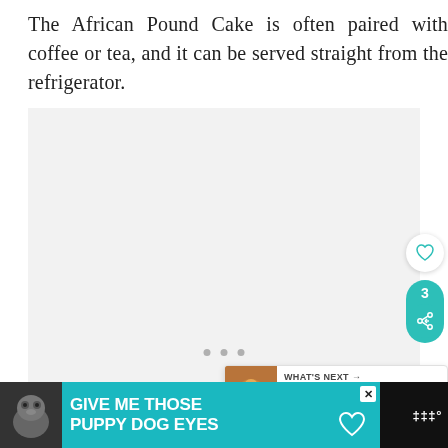The African Pound Cake is often paired with coffee or tea, and it can be served straight from the refrigerator.
[Figure (photo): Large light gray placeholder image area with three small gray dots at the bottom center, indicating an image carousel or loading image.]
[Figure (screenshot): UI overlay elements: a heart/like button, share count of 3, share icon button in teal, a 'What's Next' widget showing '30 BEST British Food...' with a food thumbnail, and a 'GIVE ME THOSE PUPPY DOG EYES' advertisement banner at the bottom.]